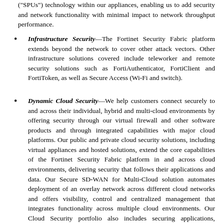("SPUs") technology within our appliances, enabling us to add security and network functionality with minimal impact to network throughput performance.
Infrastructure Security—The Fortinet Security Fabric platform extends beyond the network to cover other attack vectors. Other infrastructure solutions covered include teleworker and remote security solutions such as FortiAuthenticator, FortiClient and FortiToken, as well as Secure Access (Wi-Fi and switch).
Dynamic Cloud Security—We help customers connect securely to and across their individual, hybrid and multi-cloud environments by offering security through our virtual firewall and other software products and through integrated capabilities with major cloud platforms. Our public and private cloud security solutions, including virtual appliances and hosted solutions, extend the core capabilities of the Fortinet Security Fabric platform in and across cloud environments, delivering security that follows their applications and data. Our Secure SD-WAN for Multi-Cloud solution automates deployment of an overlay network across different cloud networks and offers visibility, control and centralized management that integrates functionality across multiple cloud environments. Our Cloud Security portfolio also includes securing applications, including email and web. Fortinet cloud security offerings are available for deployment in major public and private cloud environments, including Amazon Web Services,